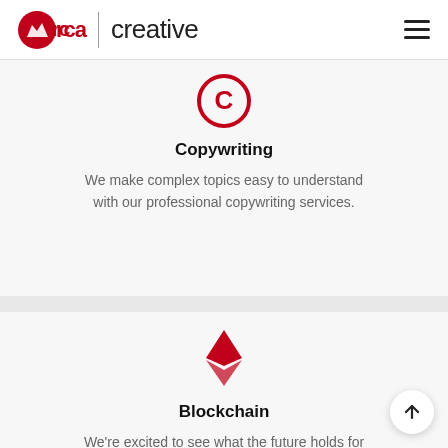Orca Creative
[Figure (logo): Red circular copyright-style icon for Copywriting section]
Copywriting
We make complex topics easy to understand with our professional copywriting services.
[Figure (logo): Red Ethereum diamond/gem icon for Blockchain section]
Blockchain
We're excited to see what the future holds for